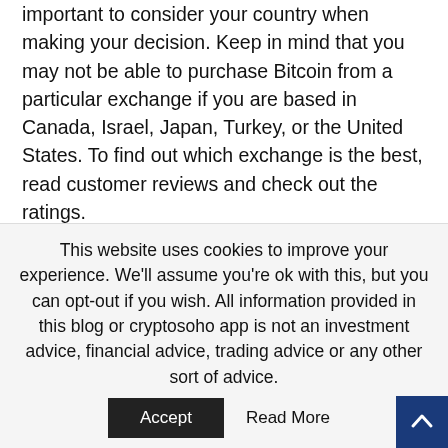important to consider your country when making your decision. Keep in mind that you may not be able to purchase Bitcoin from a particular exchange if you are based in Canada, Israel, Japan, Turkey, or the United States. To find out which exchange is the best, read customer reviews and check out the ratings.
Some exchanges behave much like banks when it comes to withdrawal limits. Other exchanges are more generous, allowing you to buy larger amounts of bitcoin at a lower price. You should also consider the speed at which your order is processed. Some exchanges are
This website uses cookies to improve your experience. We'll assume you're ok with this, but you can opt-out if you wish. All information provided in this blog or cryptosoho app is not an investment advice, financial advice, trading advice or any other sort of advice.